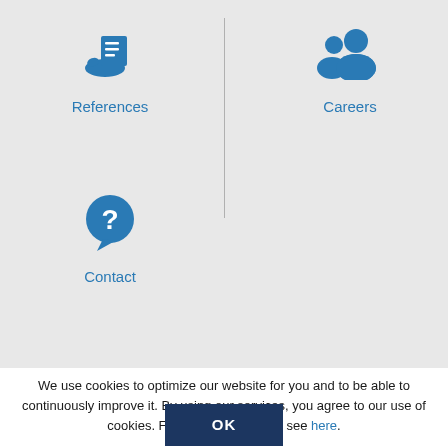[Figure (illustration): Blue icon of a hand holding a document with text lines, representing References]
References
[Figure (illustration): Blue icon of two people silhouettes, representing Careers]
Careers
[Figure (illustration): Blue circle with question mark speech bubble, representing Contact]
Contact
We use cookies to optimize our website for you and to be able to continuously improve it. By using our services, you agree to our use of cookies. For more information, see here.
OK